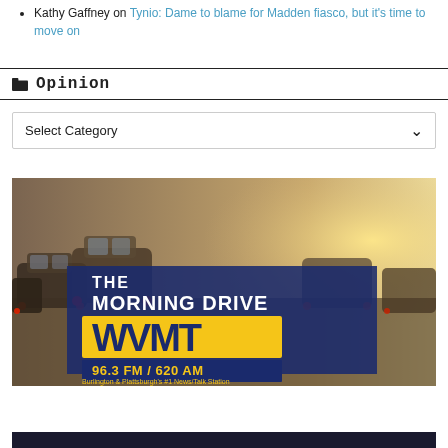Kathy Gaffney on Tynio: Dame to blame for Madden fiasco, but it's time to move on
Opinion
Select Category
[Figure (illustration): Advertisement banner for WVMT The Morning Drive radio station, showing cars in traffic with text: THE MORNING DRIVE, WVMT, 96.3 FM / 620 AM, Burlington & Plattsburgh's #1 News/Talk Station]